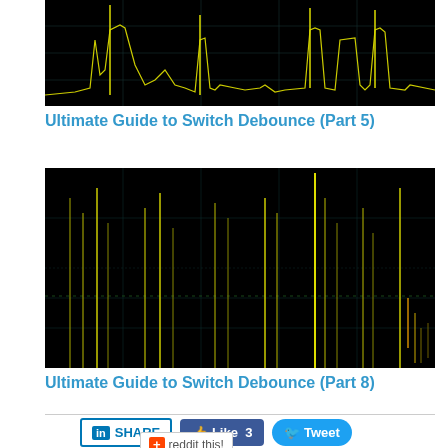[Figure (continuous-plot): Oscilloscope screenshot showing yellow waveform with switch bounce signals on black background - partial top view]
Ultimate Guide to Switch Debounce (Part 5)
[Figure (continuous-plot): Oscilloscope screenshot showing yellow vertical spike waveforms representing switch bounce on black background with grid lines]
Ultimate Guide to Switch Debounce (Part 8)